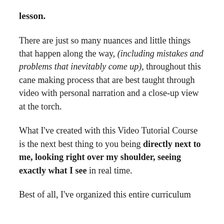lesson.
There are just so many nuances and little things that happen along the way, (including mistakes and problems that inevitably come up), throughout this cane making process that are best taught through video with personal narration and a close-up view at the torch.
What I've created with this Video Tutorial Course is the next best thing to you being directly next to me, looking right over my shoulder, seeing exactly what I see in real time.
Best of all, I've organized this entire curriculum